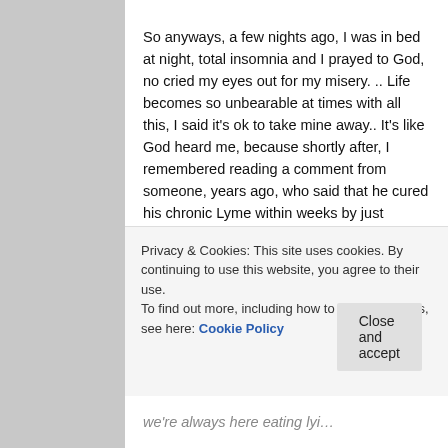So anyways, a few nights ago, I was in bed at night, total insomnia and I prayed to God, no cried my eyes out for my misery. .. Life becomes so unbearable at times with all this, I said it's ok to take mine away.. It's like God heard me, because shortly after, I remembered reading a comment from someone, years ago, who said that he cured his chronic Lyme within weeks by just drinking salt water.. I had Celtic Sea salt in my kitchen, so in the middle of the night, I drank a glass of water with a teaspoon of Sea salt…and did so again the next morning… That initiated the biggest herx I had experienced so far! But you know what
Privacy & Cookies: This site uses cookies. By continuing to use this website, you agree to their use.
To find out more, including how to control cookies, see here: Cookie Policy
we're always here eating lyi…